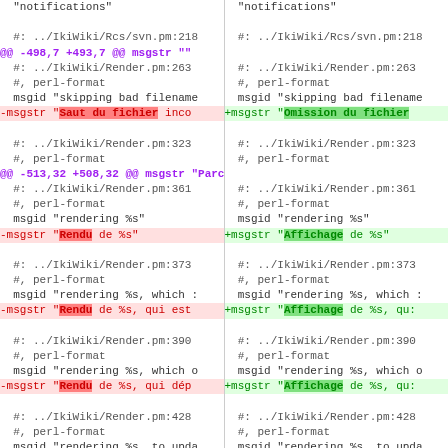[Figure (screenshot): A diff view showing two-column comparison of gettext translation file changes. Left column shows the old version with deletions highlighted in red, right column shows the new version with additions highlighted in green. Multiple diff hunks are shown covering IkiWiki/Render.pm and IkiWiki/Rcs/svn.pm source references and msgstr translation string changes.]